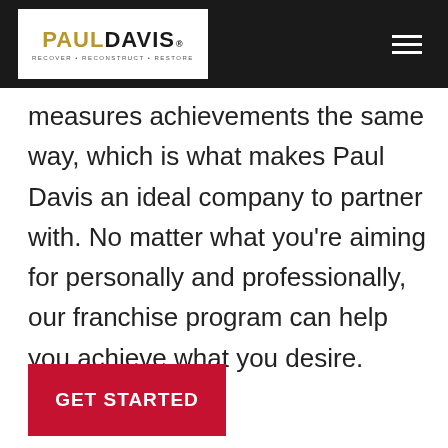PAUL DAVIS — RECOVER · RECONSTRUCT · RESTORE
measures achievements the same way, which is what makes Paul Davis an ideal company to partner with. No matter what you're aiming for personally and professionally, our franchise program can help you achieve what you desire.
GET STARTED
Why Paul Davis
Paul Davis has over a 97% success